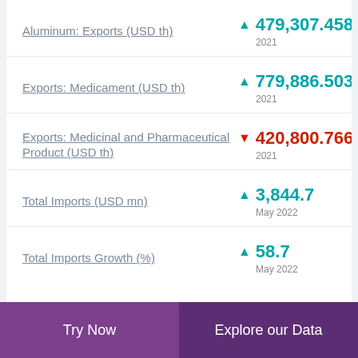Aluminum: Exports (USD th) ▲ 479,307.458 2021
Exports: Medicament (USD th) ▲ 779,886.503 2021
Exports: Medicinal and Pharmaceutical Product (USD th) ▼ 420,800.766 2021
Total Imports (USD mn) ▲ 3,844.7 May 2022
Total Imports Growth (%) ▲ 58.7 May 2022
Try Now    Explore our Data